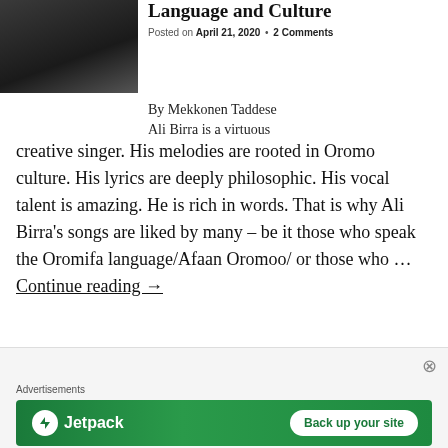[Figure (photo): Portrait photo of a man with grey beard, smiling, wearing dark jacket]
Language and Culture
Posted on April 21, 2020 • 2 Comments
By Mekkonen Taddese
Ali Birra is a virtuous creative singer. His melodies are rooted in Oromo culture. His lyrics are deeply philosophic. His vocal talent is amazing. He is rich in words. That is why Ali Birra's songs are liked by many – be it those who speak the Oromifa language/Afaan Oromoo/ or those who … Continue reading →
Advertisements
[Figure (logo): Jetpack advertisement banner with logo and 'Back up your site' button]